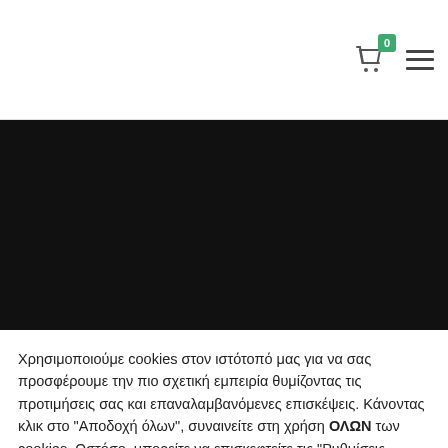0 (cart badge), hamburger menu icon
[Figure (screenshot): Black hero image / banner area, dark background]
Χρησιμοποιούμε cookies στον ιστότοπό μας για να σας προσφέρουμε την πιο σχετική εμπειρία θυμίζοντας τις προτιμήσεις σας και επαναλαμβανόμενες επισκέψεις. Κάνοντας κλικ στο "Αποδοχή όλων", συναινείτε στη χρήση ΟΛΩΝ των cookies. Ωστόσο, μπορείτε να επισκεφτείτε τις "Ρυθμίσεις cookie" για να παράσχετε μια ελεγχόμενη συγκατάθεση.
Ρυθμίσεις Cookies
Αποδοχή Όλων